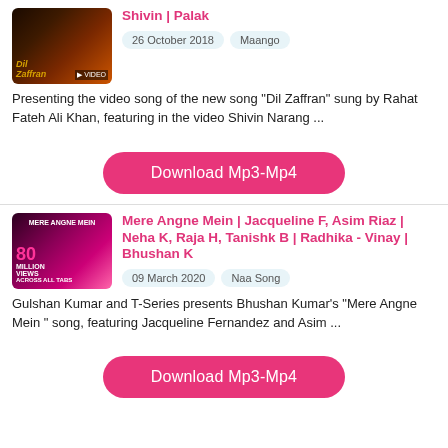Shivin | Palak
26 October 2018   Maango
Presenting the video song of the new song "Dil Zaffran" sung by Rahat Fateh Ali Khan, featuring in the video Shivin Narang ...
Download Mp3-Mp4
Mere Angne Mein | Jacqueline F, Asim Riaz | Neha K, Raja H, Tanishk B | Radhika - Vinay | Bhushan K
09 March 2020   Naa Song
Gulshan Kumar and T-Series presents Bhushan Kumar's “Mere Angne Mein” song, featuring Jacqueline Fernandez and Asim ...
Download Mp3-Mp4